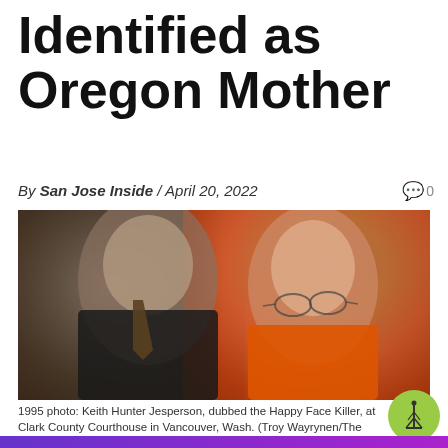Identified as Oregon Mother
By San Jose Inside / April 20, 2022   0
[Figure (photo): 1995 black and white photo of Keith Hunter Jesperson, dubbed the Happy Face Killer, at Clark County Courthouse in Vancouver, Wash., leaning toward a man in a suit. Jesperson is wearing an orange jumpsuit and glasses.]
1995 photo: Keith Hunter Jesperson, dubbed the Happy Face Killer, at Clark County Courthouse in Vancouver, Wash. (Troy Wayrynen/The Columbian, AP, File)